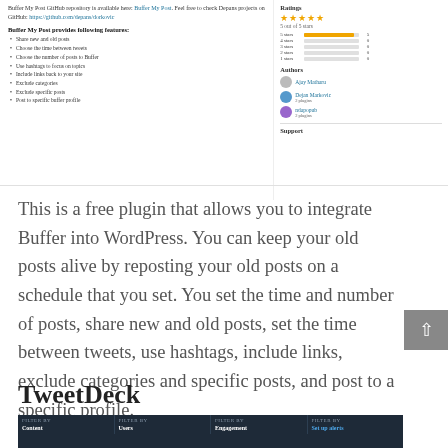Buffer My Post GitHub repository is available here: Buffer My Post. Feel free to check Depans projects on GitHub: https://github.com/depans/dorkovic
Buffer My Post provides following features:
Share new and old posts
Choose the time between tweets
Choose the number of posts to Buffer
Use hashtags to focus on topics
Include links back to your site
Exclude categories
Exclude specific posts
Post to specific buffer profile
[Figure (infographic): Ratings sidebar showing 5 stars (5 out of 5 stars), star rating bars for 5-1 stars, Authors section with Ajay Matharu, Dejan Markovic (2 plugins), ndapopub (2 plugins), and Support section]
This is a free plugin that allows you to integrate Buffer into WordPress. You can keep your old posts alive by reposting your old posts on a schedule that you set. You set the time and number of posts, share new and old posts, set the time between tweets, use hashtags, include links, exclude categories and specific posts, and post to a specific profile.
TweetDeck
[Figure (screenshot): TweetDeck dashboard screenshot showing columns: Content, Users, Engagement, Set up alerts on a dark background]